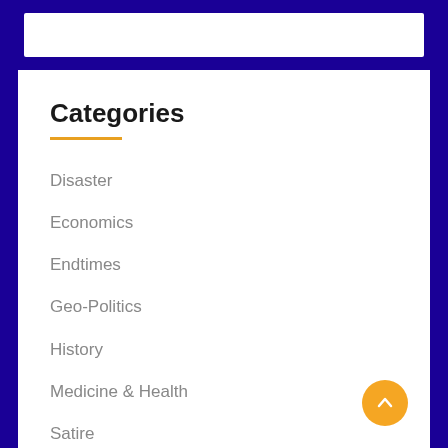Categories
Disaster
Economics
Endtimes
Geo-Politics
History
Medicine & Health
Satire
Science & Technology
Social Trends
Uncategorized